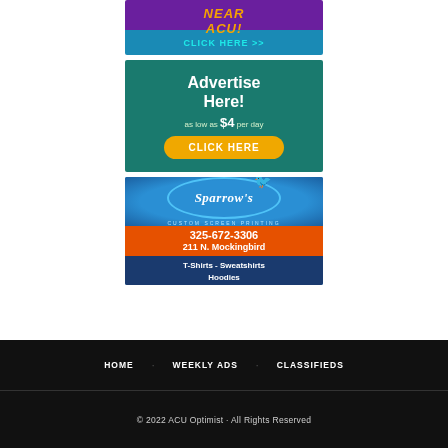[Figure (advertisement): ACU advertisement banner with purple and teal background, yellow text 'NEAR ACU!' and cyan 'CLICK HERE >>']
[Figure (advertisement): Advertise Here ad on teal background, white text 'Advertise Here! as low as $4 per day', orange 'CLICK HERE' button]
[Figure (advertisement): Sparrow's Custom Screen Printing ad with blue top section, orange bottom, phone 325-672-3306, address 211 N. Mockingbird, T-Shirts - Sweatshirts Hoodies]
HOME   WEEKLY ADS   CLASSIFIEDS
© 2022 ACU Optimist · All Rights Reserved